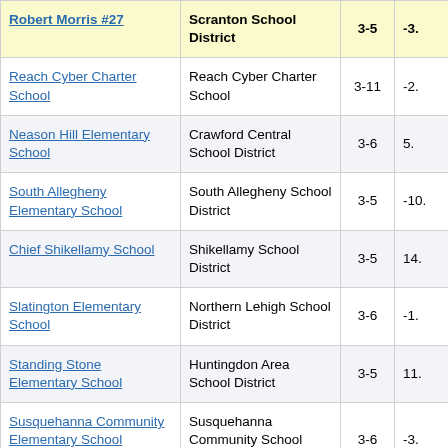| School | District | Grades | Value |
| --- | --- | --- | --- |
| Robert Morris #27 | Scranton School District | 3-5 | -3. |
| Reach Cyber Charter School | Reach Cyber Charter School | 3-11 | -2. |
| Neason Hill Elementary School | Crawford Central School District | 3-6 | 5. |
| South Allegheny Elementary School | South Allegheny School District | 3-5 | -10. |
| Chief Shikellamy School | Shikellamy School District | 3-5 | 14. |
| Slatington Elementary School | Northern Lehigh School District | 3-6 | -1. |
| Standing Stone Elementary School | Huntingdon Area School District | 3-5 | 11. |
| Susquehanna Community Elementary School | Susquehanna Community School District | 3-6 | -3. |